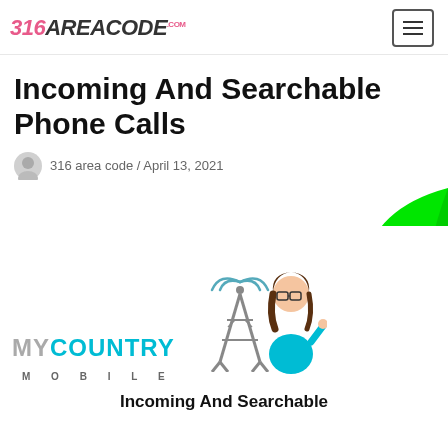316areacode.com
Incoming And Searchable Phone Calls
316 area code / April 13, 2021
[Figure (illustration): My Country Mobile logo with antenna tower graphic, a cartoon woman in teal, and a large green curved shape in the top-right corner. Caption at bottom reads 'Incoming And Searchable Phone Calls'.]